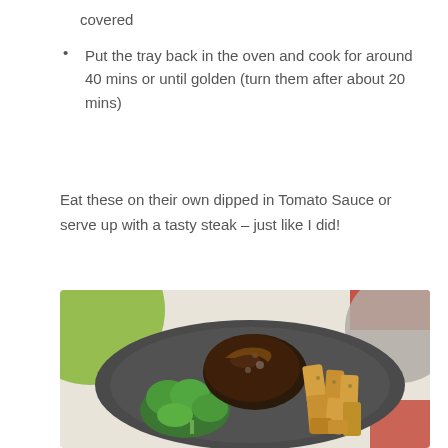covered
Put the tray back in the oven and cook for around 40 mins or until golden (turn them after about 20 mins)
Eat these on their own dipped in Tomato Sauce or serve up with a tasty steak – just like I did!
[Figure (photo): A dark plate with a cooked steak, golden roasted potato wedges/chips, and broccoli florets. The plate is on a white surface with colorful circles visible in the background (green, red, gray).]